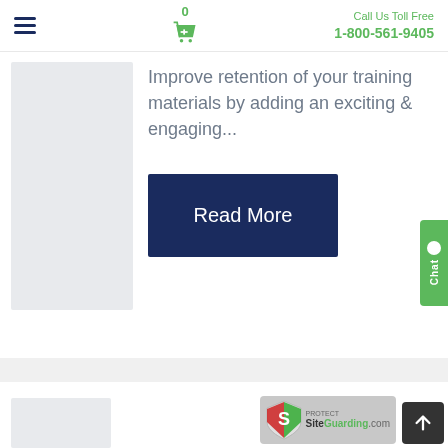0  Call Us Toll Free 1-800-561-9405
Improve retention of your training materials by adding an exciting & engaging...
Read More
[Figure (screenshot): SiteGuarding.com security badge with shield logo]
[Figure (screenshot): Chat tab on right side]
[Figure (screenshot): Scroll to top button]